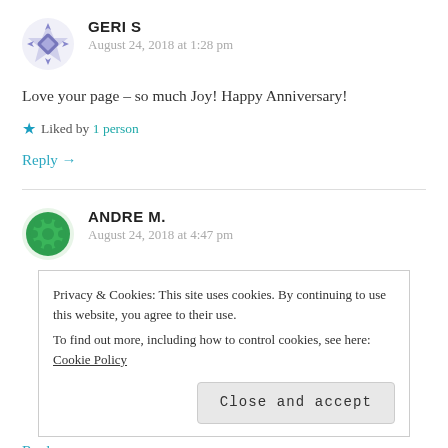[Figure (illustration): Avatar icon for user Geri S - geometric diamond/star pattern in purple/blue]
GERI S
August 24, 2018 at 1:28 pm
Love your page – so much Joy! Happy Anniversary!
★ Liked by 1 person
Reply →
[Figure (illustration): Avatar icon for user Andre M. - green circular badge/rosette pattern]
ANDRE M.
August 24, 2018 at 4:47 pm
Privacy & Cookies: This site uses cookies. By continuing to use this website, you agree to their use.
To find out more, including how to control cookies, see here: Cookie Policy
Close and accept
Reply →